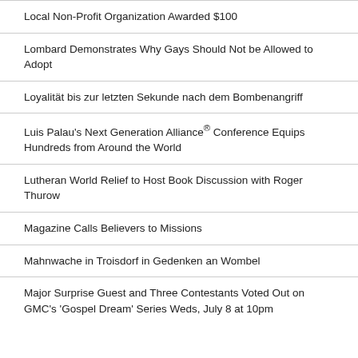Local Non-Profit Organization Awarded $100
Lombard Demonstrates Why Gays Should Not be Allowed to Adopt
Loyalität bis zur letzten Sekunde nach dem Bombenangriff
Luis Palau's Next Generation Alliance® Conference Equips Hundreds from Around the World
Lutheran World Relief to Host Book Discussion with Roger Thurow
Magazine Calls Believers to Missions
Mahnwache in Troisdorf in Gedenken an Wombel
Major Surprise Guest and Three Contestants Voted Out on GMC's 'Gospel Dream' Series Weds, July 8 at 10pm